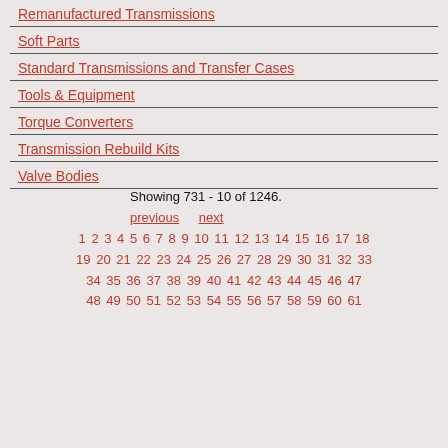Remanufactured Transmissions
Soft Parts
Standard Transmissions and Transfer Cases
Tools & Equipment
Torque Converters
Transmission Rebuild Kits
Valve Bodies
Showing 731 - 10 of 1246.
previous  next
1 2 3 4 5 6 7 8 9 10 11 12 13 14 15 16 17 18 19 20 21 22 23 24 25 26 27 28 29 30 31 32 33 34 35 36 37 38 39 40 41 42 43 44 45 46 47 48 49 50 51 52 53 54 55 56 57 58 59 60 61